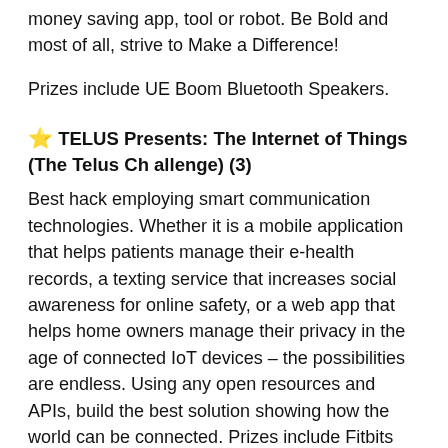money saving app, tool or robot. Be Bold and most of all, strive to Make a Difference!
Prizes include UE Boom Bluetooth Speakers.
⭐ TELUS Presents: The Internet of Things (The Telus Challenge) (3)
Best hack employing smart communication technologies. Whether it is a mobile application that helps patients manage their e-health records, a texting service that increases social awareness for online safety, or a web app that helps home owners manage their privacy in the age of connected IoT devices – the possibilities are endless. Using any open resources and APIs, build the best solution showing how the world can be connected. Prizes include Fitbits and Best Buy giftcards. Please look at this link before starting your hack: https://tinyurl.com/hnuevpb